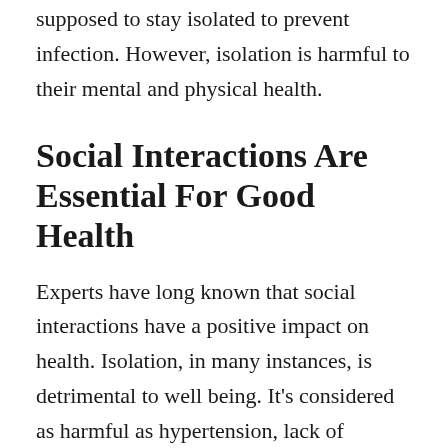supposed to stay isolated to prevent infection. However, isolation is harmful to their mental and physical health.
Social Interactions Are Essential For Good Health
Experts have long known that social interactions have a positive impact on health. Isolation, in many instances, is detrimental to well being. It's considered as harmful as hypertension, lack of exercise, obesity, and smoking.